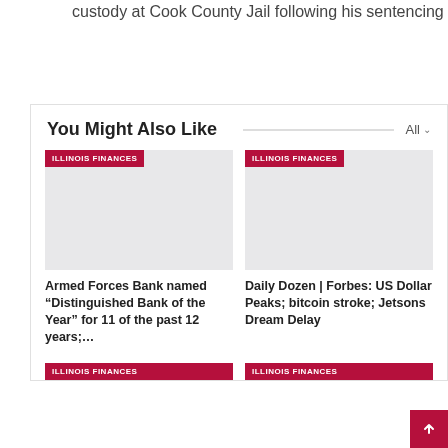custody at Cook County Jail following his sentencing
You Might Also Like
[Figure (other): Gray placeholder image for Illinois Finances article card 1]
Armed Forces Bank named “Distinguished Bank of the Year” for 11 of the past 12 years;…
[Figure (other): Gray placeholder image for Illinois Finances article card 2]
Daily Dozen | Forbes: US Dollar Peaks; bitcoin stroke; Jetsons Dream Delay
ILLINOIS FINANCES
ILLINOIS FINANCES